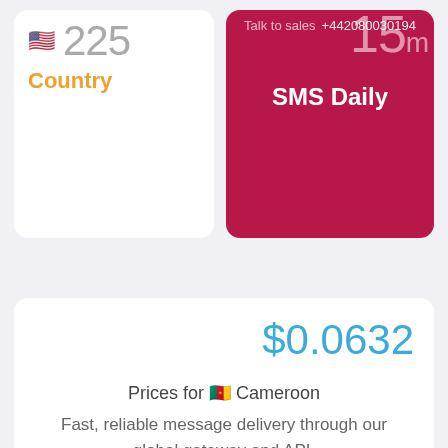225
Country
Talk to sales  +44208003019
15 m SMS Daily
$0.0632
Prices for 🇨🇲 Cameroon
Fast, reliable message delivery through our global gateway and API.